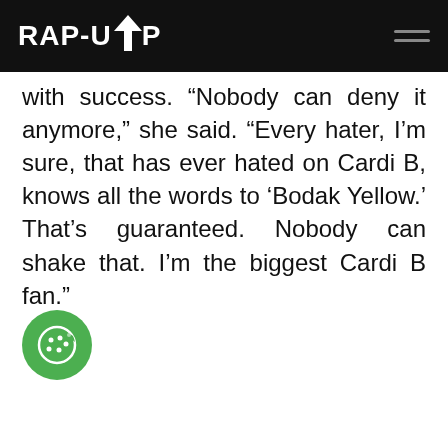RAP-UP
with success. “Nobody can deny it anymore,” she said. “Every hater, I’m sure, that has ever hated on Cardi B, knows all the words to ‘Bodak Yellow.’ That’s guaranteed. Nobody can shake that. I’m the biggest Cardi B fan.”
[Figure (illustration): Green circular cookie/consent icon button in bottom left corner]